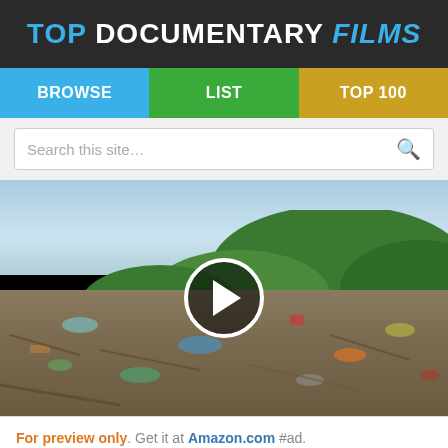TOP DOCUMENTARY FILMS
BROWSE | LIST | TOP 100
Search this site...
[Figure (screenshot): Video thumbnail showing a beach covered in trash and plastic waste with green hillside in the background, and a white play button circle overlay in the center]
For preview only. Get it at Amazon.com #ad.